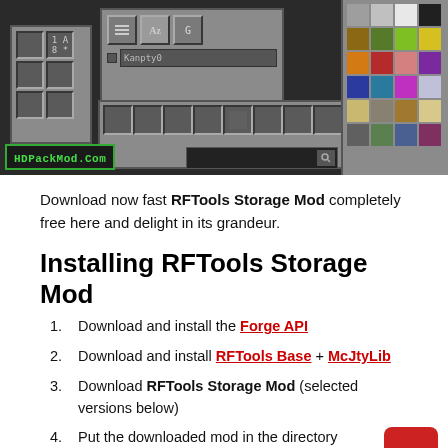[Figure (screenshot): Minecraft game screenshot showing an inventory/storage interface with item grids, filter buttons, a search field labeled 'Kanpty0', and colorful block items on the right. A watermark reads 'HDPackMod.Com' in green.]
Download now fast RFTools Storage Mod completely free here and delight in its grandeur.
Installing RFTools Storage Mod
Download and install the Forge API
Download and install RFTools Base + McJtyLib
Download RFTools Storage Mod (selected versions below)
Put the downloaded mod in the directory ./minecraft/mods/